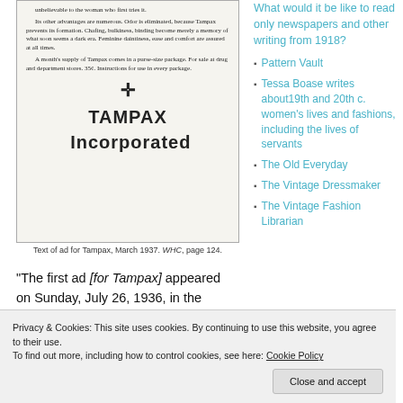[Figure (photo): Scanned vintage Tampax advertisement showing text about advantages and a cross symbol above 'TAMPAX Incorporated' in bold lettering]
Text of ad for Tampax, March 1937. WHC, page 124.
“The first ad [for Tampax] appeared on Sunday, July 26, 1936, in the American Weekly. A Sunday supplement that was inserted in many major newspapers, it claimed the greatest circulation in the world, some 11 million buyers.”  Tampax history:
What would it be like to read only newspapers and other writing from 1918?
Pattern Vault
Tessa Boase writes about19th and 20th c. women’s lives and fashions, including the lives of servants
The Old Everyday
The Vintage Dressmaker
The Vintage Fashion Librarian
Privacy & Cookies: This site uses cookies. By continuing to use this website, you agree to their use.
To find out more, including how to control cookies, see here: Cookie Policy
Close and accept